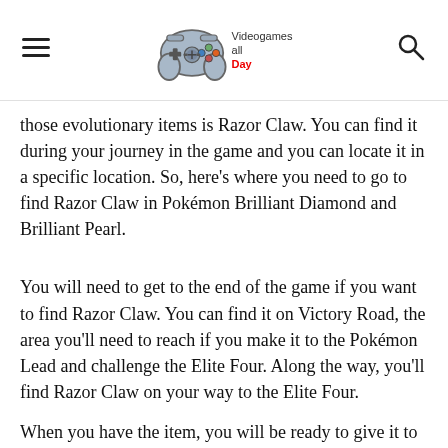Videogames all Day
those evolutionary items is Razor Claw. You can find it during your journey in the game and you can locate it in a specific location. So, here's where you need to go to find Razor Claw in Pokémon Brilliant Diamond and Brilliant Pearl.
You will need to get to the end of the game if you want to find Razor Claw. You can find it on Victory Road, the area you'll need to reach if you make it to the Pokémon Lead and challenge the Elite Four. Along the way, you'll find Razor Claw on your way to the Elite Four.
When you have the item, you will be ready to give it to S...